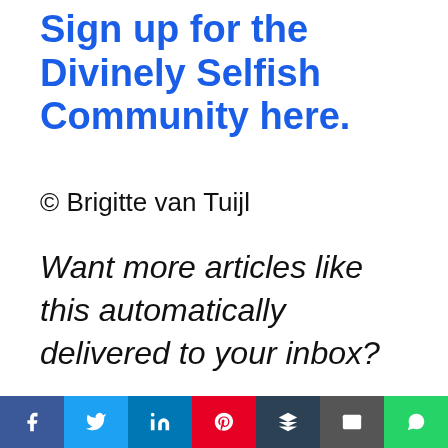Sign up for the Divinely Selfish Community here.
© Brigitte van Tuijl
Want more articles like this automatically delivered to your inbox?
[Figure (infographic): Social sharing bar with icons for Facebook, Twitter, LinkedIn, Pinterest, Buffer, Email, and WhatsApp]